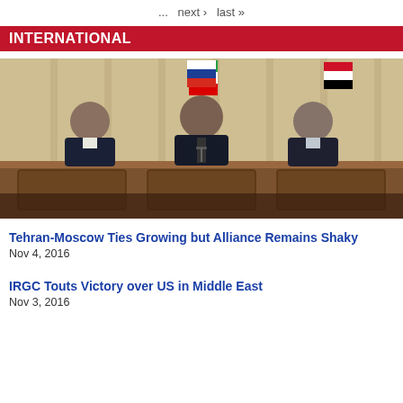... next › last »
INTERNATIONAL
[Figure (photo): Three men in suits seated at a wooden podium with the flags of Iran, Russia, and Syria behind them at a press conference.]
Tehran-Moscow Ties Growing but Alliance Remains Shaky
Nov 4, 2016
IRGC Touts Victory over US in Middle East
Nov 3, 2016